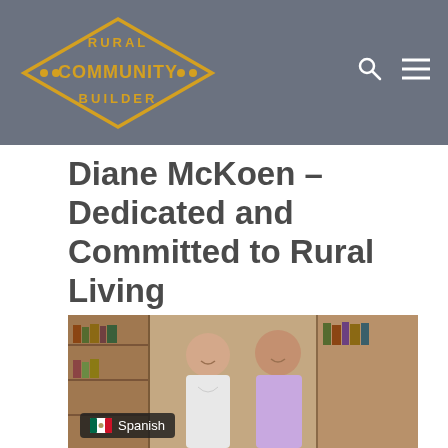Rural Community Builder
Diane McKoen – Dedicated and Committed to Rural Living
[Figure (photo): Two women smiling in what appears to be a rural shop or library with shelves of books and goods in the background. A Spanish language badge with Mexican flag icon is overlaid at the bottom left.]